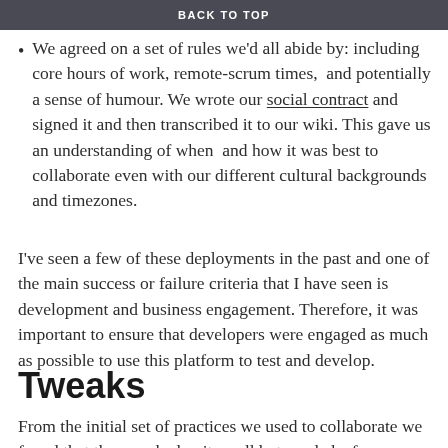BACK TO TOP
We agreed on a set of rules we'd all abide by: including core hours of work, remote-scrum times,  and potentially a sense of humour. We wrote our social contract and signed it and then transcribed it to our wiki. This gave us an understanding of when  and how it was best to collaborate even with our different cultural backgrounds and timezones.
I've seen a few of these deployments in the past and one of the main success or failure criteria that I have seen is development and business engagement. Therefore, it was important to ensure that developers were engaged as much as possible to use this platform to test and develop.
Tweaks
From the initial set of practices we used to collaborate we found that they worked quite well but needed a few